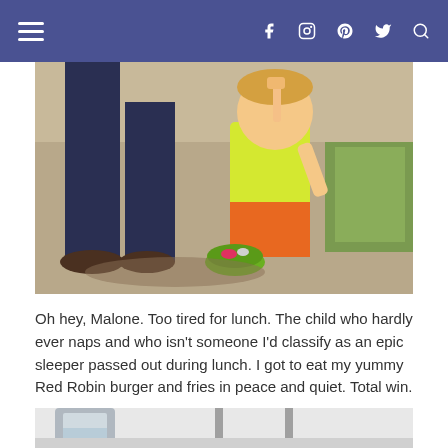≡  f  ⊙  p  𝕎  🔍
[Figure (photo): Outdoor photo showing an adult's legs in dark pants and boots standing on a sidewalk next to a young toddler with blond hair wearing a yellow shirt and orange shorts. There is a small green bowl on the ground with items in it.]
Oh hey, Malone. Too tired for lunch. The child who hardly ever naps and who isn't someone I'd classify as an epic sleeper passed out during lunch. I got to eat my yummy Red Robin burger and fries in peace and quiet. Total win.
[Figure (photo): Black and white photo partially visible at bottom of page showing a glass cup on what appears to be a table or surface.]